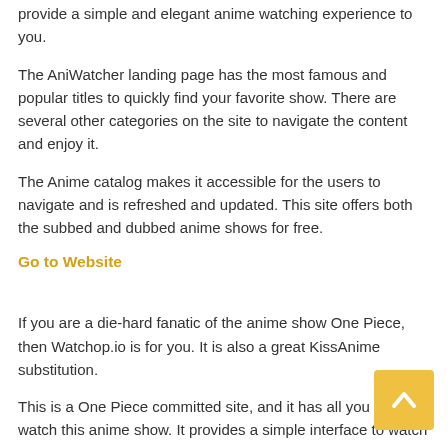provide a simple and elegant anime watching experience to you.
The AniWatcher landing page has the most famous and popular titles to quickly find your favorite show. There are several other categories on the site to navigate the content and enjoy it.
The Anime catalog makes it accessible for the users to navigate and is refreshed and updated. This site offers both the subbed and dubbed anime shows for free.
Go to Website
If you are a die-hard fanatic of the anime show One Piece, then Watchop.io is for you. It is also a great KissAnime substitution.
This is a One Piece committed site, and it has all you need to watch this anime show. It provides a simple interface to watch an anime show and contains all the episodes from the beginning to the recent ones.
The One Piece anime is one of the longest and oldest running anime shows in Japan. Hence, this site is just for the One piece anime show, giving One Piece fans what they need.
Go to Website